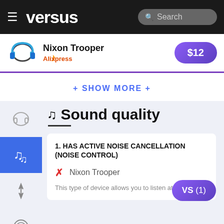versus — Search
Nixon Trooper — AliExpress — $12
+ SHOW MORE +
♪♪ Sound quality
1. HAS ACTIVE NOISE CANCELLATION (NOISE CONTROL)
✗ Nixon Trooper
This type of device allows you to listen at lower
VS (1)